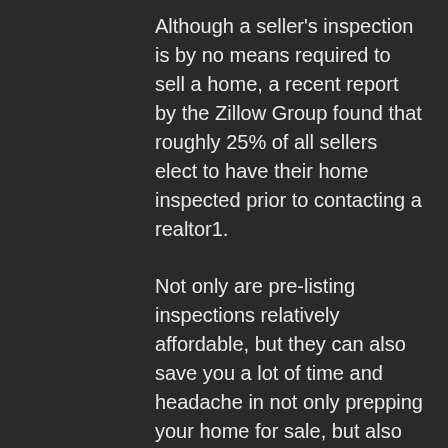Although a seller's inspection is by no means required to sell a home, a recent report by the Zillow Group found that roughly 25% of all sellers elect to have their home inspected prior to contacting a realtor1.
Not only are pre-listing inspections relatively affordable, but they can also save you a lot of time and headache in not only prepping your home for sale, but also once your home is listed.
It's also important to note that agents representing buyers are also generally required to complete a walkthrough of your property to help identify potential issues for their clients.
Wouldn't you rather have your expert